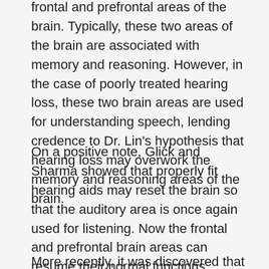frontal and prefrontal areas of the brain. Typically, these two areas of the brain are associated with memory and reasoning. However, in the case of poorly treated hearing loss, these two brain areas are used for understanding speech, lending credence to Dr. Lin’s hypothesis that hearing loss may overwork the memory and reasoning areas of the brain.
On a positive note, Glick and Sharma showed that properly fit hearing aids may reset the brain so that the auditory area is once again used for listening. Now the frontal and prefrontal brain areas can resume their normal functions.
More recently, it was discovered that hearing